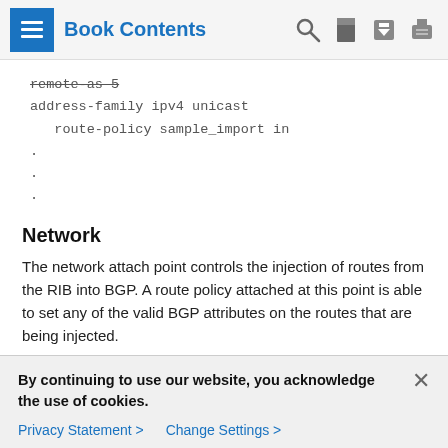Book Contents
remote-as 5
address-family ipv4 unicast
   route-policy sample_import in
.
.
.
Network
The network attach point controls the injection of routes from the RIB into BGP. A route policy attached at this point is able to set any of the valid BGP attributes on the routes that are being injected.
The following example shows a route policy attached at the
By continuing to use our website, you acknowledge the use of cookies.
Privacy Statement >    Change Settings >